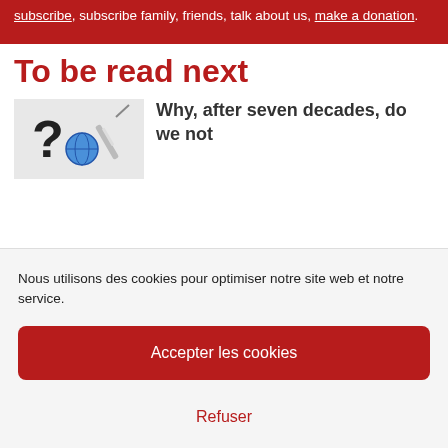subscribe, subscribe family, friends, talk about us, make a donation.
To be read next
[Figure (illustration): Thumbnail image showing a question mark, a globe, and a syringe on a light grey background]
Why, after seven decades, do we not
Nous utilisons des cookies pour optimiser notre site web et notre service.
Accepter les cookies
Refuser
Voir les préférences